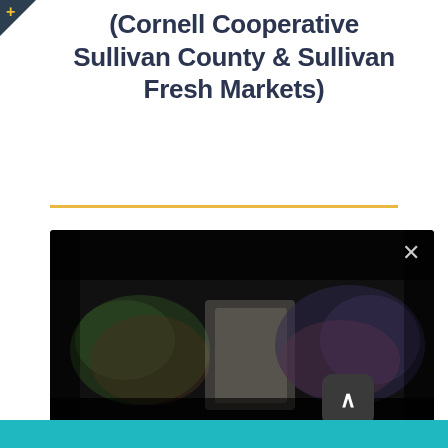(Cornell Cooperative Sullivan County & Sullivan Fresh Markets)
[Figure (photo): Blurred/dark photograph showing a market or booth scene with colorful blurred items visible in the background, displayed as a video or image player with a close (X) button in the top right corner and a scroll-up button overlay in the bottom right area]